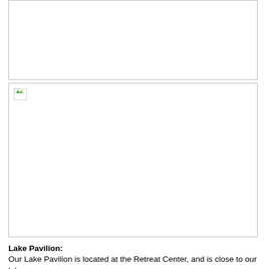[Figure (photo): First image placeholder (broken/missing image), shown as a white rectangle with border]
[Figure (photo): Second image placeholder (broken/missing image), shown as a white rectangle with border and broken image icon in top-left]
Lake Pavilion:
Our Lake Pavilion is located at the Retreat Center, and is close to our lake